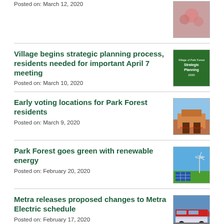Posted on: March 12, 2020
Village begins strategic planning process, residents needed for important April 7 meeting
Posted on: March 10, 2020
[Figure (photo): Green cover of Strategic Planning 2020 document]
Early voting locations for Park Forest residents
Posted on: March 9, 2020
[Figure (photo): Park Forest Village Hall exterior]
Park Forest goes green with renewable energy
Posted on: February 20, 2020
[Figure (photo): Wind turbines and solar panels]
Metra releases proposed changes to Metra Electric schedule
Posted on: February 17, 2020
[Figure (photo): Metra train with red and white design]